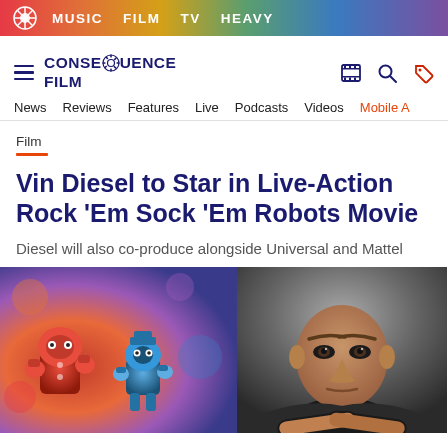MUSIC  FILM  TV  HEAVY
[Figure (logo): Consequence Film site logo with gear icon and hamburger menu, search and tag icons]
News  Reviews  Features  Live  Podcasts  Videos  Mobile A
Film
Vin Diesel to Star in Live-Action Rock ‘Em Sock ‘Em Robots Movie
Diesel will also co-produce alongside Universal and Mattel
[Figure (photo): Left: Rock ‘Em Sock ‘Em robot toys (red and blue) in colorful background. Right: Vin Diesel in dark clothing against grey background.]